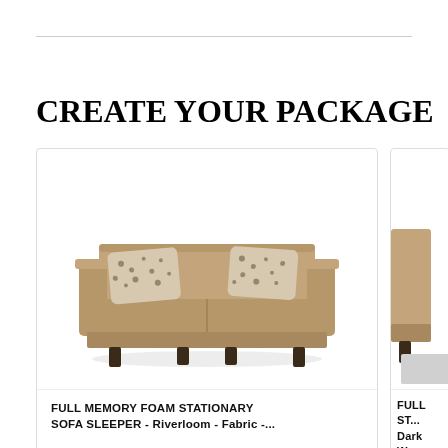CREATE YOUR PACKAGE
[Figure (photo): A tan/mocha fabric full memory foam stationary sofa sleeper with two decorative patterned pillows, dark wood legs, photographed on white background]
FULL MEMORY FOAM STATIONARY SOFA SLEEPER - Riverloom - Fabric -...
[Figure (photo): Partial view of a second sofa/furniture item with dark walnut finish, partially visible at right edge]
FULL ST... Dark Wa...